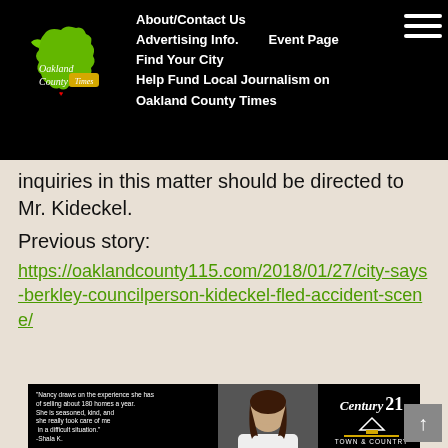Oakland County Times — About/Contact Us | Advertising Info. | Event Page | Find Your City | Help Fund Local Journalism on Oakland County Times
inquiries in this matter should be directed to Mr. Kideckel.
Previous story:
https://oaklandcounty115.com/2018/01/27/city-says-berkley-councilperson-kideckel-fled-accident-scene/
[Figure (photo): Advertisement for Nancy Robinson, Century 21 Town & Country realtor. Black background with testimonial quote from Shala K., photo of Nancy Robinson, Century 21 logo, and contact information including NancyRobinson01@gmail.com, (248) 556-7400, Mobile: (248) 224-1013]
[Figure (photo): Advertisement for Galloway and Collens PLLC, Estates + Real Estate Attorneys Serving Oakland County. GallowayCollens.com 248-545-2500]